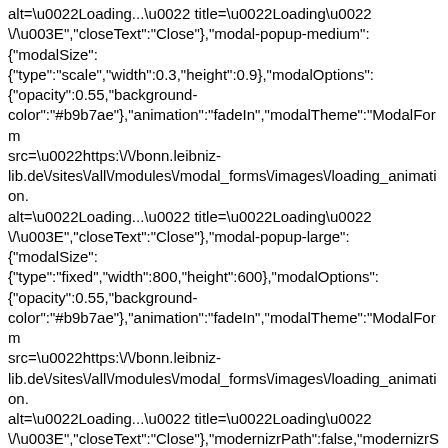alt=\u0022Loading...\u0022 title=\u0022Loading\u0022 \/\u003E","closeText":"Close"},{"modal-popup-medium": {"modalSize": {"type":"scale","width":0.3,"height":0.9},"modalOptions": {"opacity":0.55,"background-color":"#b9b7ae"},"animation":"fadeIn","modalTheme":"ModalForm src=\u0022https:\/\/bonn.leibniz-lib.de\/sites\/all\/modules\/modal_forms\/images\/loading_animation. alt=\u0022Loading...\u0022 title=\u0022Loading\u0022 \/\u003E","closeText":"Close"},{"modal-popup-large": {"modalSize": {"type":"fixed","width":800,"height":600},"modalOptions": {"opacity":0.55,"background-color":"#b9b7ae"},"animation":"fadeIn","modalTheme":"ModalForm src=\u0022https:\/\/bonn.leibniz-lib.de\/sites\/all\/modules\/modal_forms\/images\/loading_animation. alt=\u0022Loading...\u0022 title=\u0022Loading\u0022 \/\u003E","closeText":"Close"},"modernizrPath":false,"modernizrSe {"\/en\/printmail\/node\/5629":true},"clientsideValidation": {"forms":{"print-mail-form":{"errorPlacement":"5","general": {"errorClass":"error","wrapper":"li","validateTabs":0,"scrollTo":1,"s {"fld_from_addr":{"required":true,"messages":{"required":"Your email field is required.","maxlength":"Your email field has to have maximum 128 values."},"maxlength":128},{"fld_from_name": {"maxlength":128,"messages":{"maxlength":"Your name field has to have maximum 128 values."}}}"tats[abkdu]"}